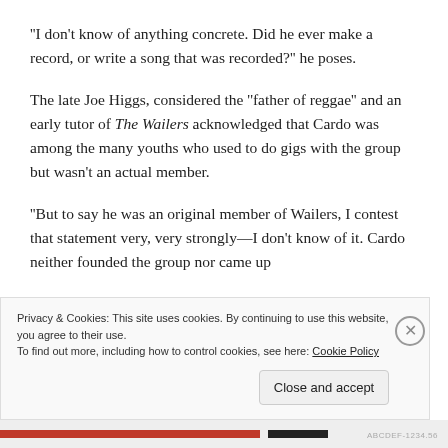''I don't know of anything concrete. Did he ever make a record, or write a song that was recorded?'' he poses.
The late Joe Higgs, considered the ''father of reggae'' and an early tutor of The Wailers acknowledged that Cardo was among the many youths who used to do gigs with the group but wasn't an actual member.
''But to say he was an original member of Wailers, I contest that statement very, very strongly—I don't know of it. Cardo neither founded the group nor came up
Privacy & Cookies: This site uses cookies. By continuing to use this website, you agree to their use.
To find out more, including how to control cookies, see here: Cookie Policy
Close and accept